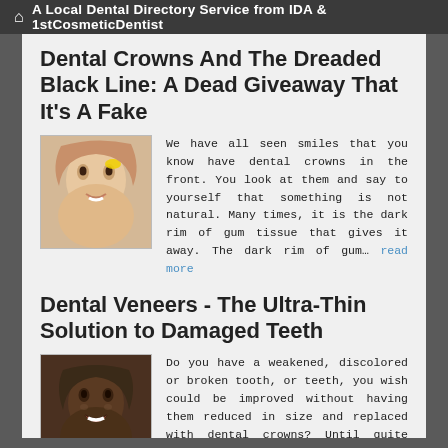A Local Dental Directory Service from IDA & 1stCosmeticDentist
Dental Crowns And The Dreaded Black Line: A Dead Giveaway That It's A Fake
[Figure (photo): Smiling woman with dental crowns, close-up portrait]
We have all seen smiles that you know have dental crowns in the front. You look at them and say to yourself that something is not natural. Many times, it is the dark rim of gum tissue that gives it away. The dark rim of gum... read more
Dental Veneers - The Ultra-Thin Solution to Damaged Teeth
[Figure (photo): Smiling man with dental veneers, close-up portrait]
Do you have a weakened, discolored or broken tooth, or teeth, you wish could be improved without having them reduced in size and replaced with dental crowns? Until quite recently, a crown was your only alternative. But not any more. Now... read more